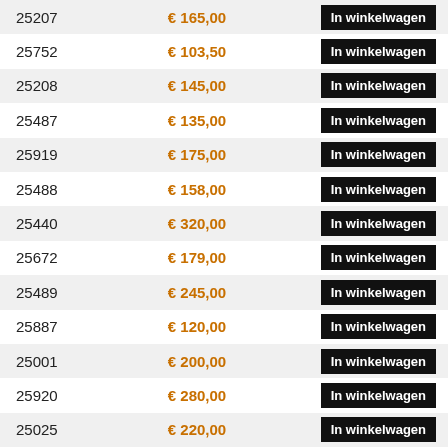| Code | Price | Action |
| --- | --- | --- |
| 25207 | € 165,00 | In winkelwagen |
| 25752 | € 103,50 | In winkelwagen |
| 25208 | € 145,00 | In winkelwagen |
| 25487 | € 135,00 | In winkelwagen |
| 25919 | € 175,00 | In winkelwagen |
| 25488 | € 158,00 | In winkelwagen |
| 25440 | € 320,00 | In winkelwagen |
| 25672 | € 179,00 | In winkelwagen |
| 25489 | € 245,00 | In winkelwagen |
| 25887 | € 120,00 | In winkelwagen |
| 25001 | € 200,00 | In winkelwagen |
| 25920 | € 280,00 | In winkelwagen |
| 25025 | € 220,00 | In winkelwagen |